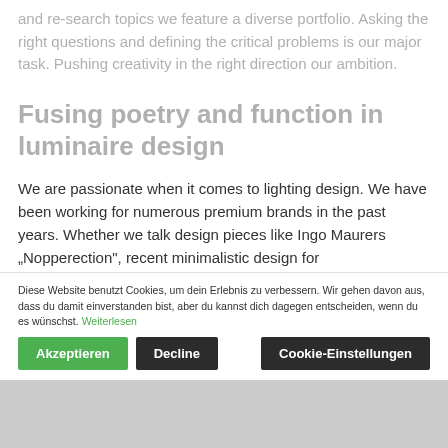and re-search topics we feature a diverse portfolio. Asking the right questions and defining the critical problems is our major task. Pushing creativity in the right direction our ambition.
Fusing poetry and function in luminaire design
We are passionate when it comes to lighting design. We have been working for numerous premium brands in the past years. Whether we talk design pieces like Ingo Maurers „Nopperection", recent minimalistic design for
„Pong" for Ligne Roset or Spots or Steng Licht – our background creates handmade solutions d...
Diese Website benutzt Cookies, um dein Erlebnis zu verbessern. Wir gehen davon aus, dass du damit einverstanden bist, aber du kannst dich dagegen entscheiden, wenn du es wünschst. Weiterlesen
Akzeptieren | Decline | Cookie-Einstellungen